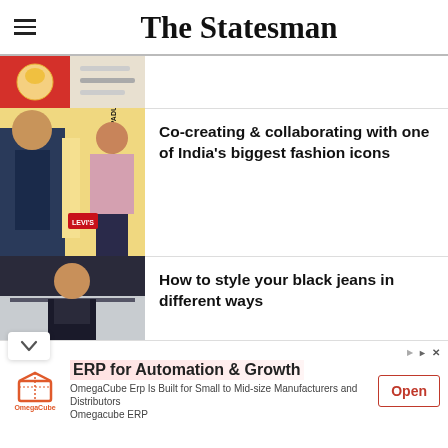The Statesman
[Figure (photo): Partial article thumbnail showing shoes/food in red and white tones]
[Figure (photo): Levi's x Deepika Padukone fashion collaboration photo showing two models in denim]
Co-creating & collaborating with one of India’s biggest fashion icons
[Figure (photo): Man in black denim jacket posing outdoors against a marble building background]
How to style your black jeans in different ways
[Figure (other): OmegaCube ERP advertisement banner with logo, headline, subtext, and Open button]